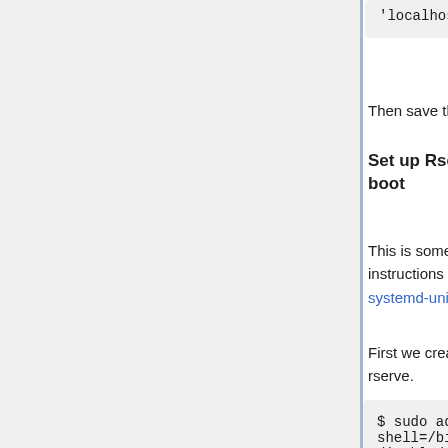'localhost'};
Then save the file and Quit.
Set up Rserve to run as a daemon at system boot
This is somewhat complicated. I'm basically following instructions from https://github.com/geordielad/rserve-systemd-unit
First we create a user with limited privileges to run rserve.
$ sudo adduser rserveuser --system --shell=/bin/false --no-create-home --disabled-password --disabled-login